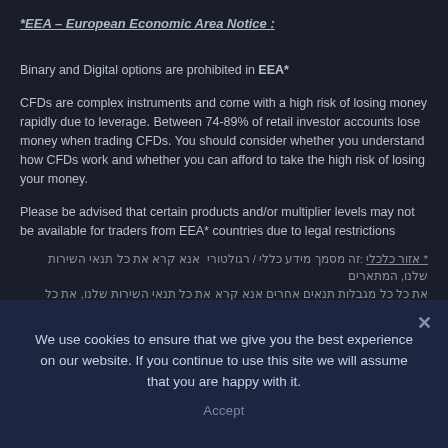*EEA – European Economic Area Notice :
Binary and Digital options are prohibited in EEA*
CFDs are complex instruments and come with a high risk of losing money rapidly due to leverage. Between 74-89% of retail investor accounts lose money when trading CFDs. You should consider whether you understand how CFDs work and whether you can afford to take the high risk of losing your money.
Please be advised that certain products and/or multiplier levels may not be available for traders from EEA* countries due to legal restrictions
* אזור כלכלי : זה מסמך מידע כללי / רגולטורי אנא קרא את כל תנאי השירות שלנו, המתארים את כל כל מגבלות תנאים אחרים אנא קרא את כל תנאי השירות שלנו, optiontrade.com אנא קרא את מסמכי מדיניות הפרטיות הרגולטורית / מגבלות על מוצרי נגזרים מסויימים תנאים אחרים, מוצרים מסויימים רגולטורי / מגבלות
We use cookies to ensure that we give you the best experience on our website. If you continue to use this site we will assume that you are happy with it.